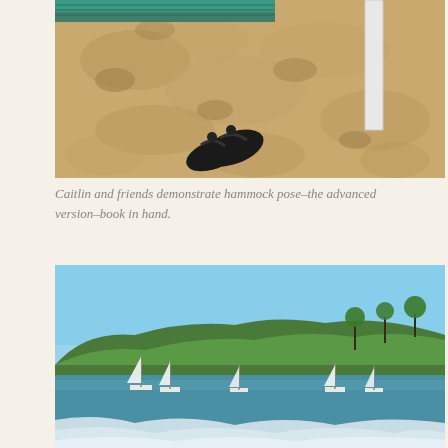[Figure (photo): Close-up photo of sandy beach with flip-flops/sandals lying on rippled sand, a white plastic chair leg visible on right edge, and green hammock fabric visible at top]
Caitlin and friends demonstrate hammock pose–the advanced version–book in hand.
[Figure (photo): Coastal bay panorama with blue water, white-sailed sailboats anchored in the bay, lush green tropical hillside with palm trees and buildings in background, white surf in foreground]